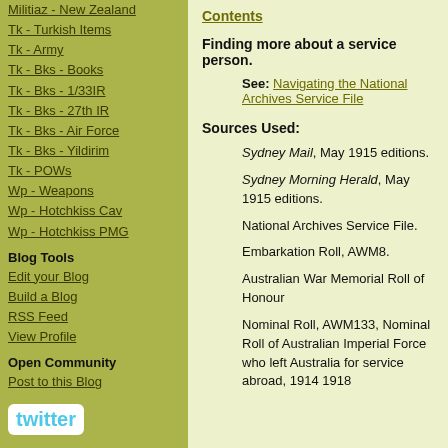Militiaz - New Zealand
Tk - Turkish Items
Tk - Army
Tk - Bks - Books
Tk - Bks - 1/33IR
Tk - Bks - 27th IR
Tk - Bks - Air Force
Tk - Bks - Yildirim
Tk - POWs
Wp - Weapons
Wp - Hotchkiss Cav
Wp - Hotchkiss PMG
Blog Tools
Edit your Blog
Build a Blog
RSS Feed
View Profile
Open Community
Post to this Blog
[Figure (logo): Twitter logo button]
Biographical Research Links
1. First World War Embarkation Roll - AWM
Contents
Finding more about a service person.
See: Navigating the National Archives Service File
Sources Used:
Sydney Mail, May 1915 editions.
Sydney Morning Herald, May 1915 editions.
National Archives Service File.
Embarkation Roll, AWM8.
Australian War Memorial Roll of Honour
Nominal Roll, AWM133, Nominal Roll of Australian Imperial Force who left Australia for service abroad, 1914 1918